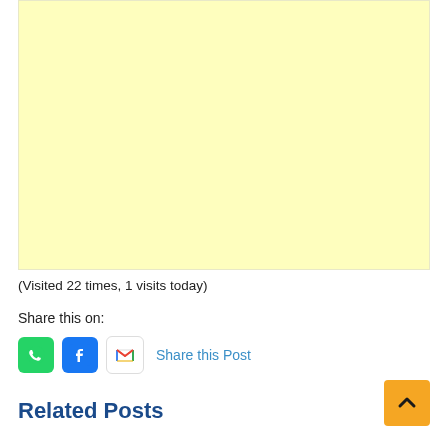[Figure (other): Yellow/cream colored advertisement placeholder block]
(Visited 22 times, 1 visits today)
Share this on:
[Figure (infographic): Social share icons: WhatsApp (green), Facebook (blue), Gmail (red/white envelope), followed by 'Share this Post' link text in blue]
Related Posts